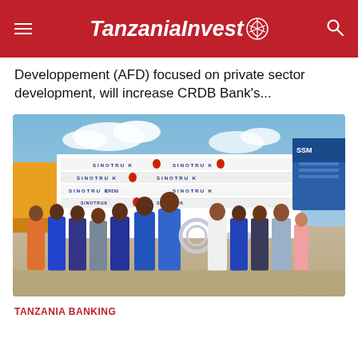TanzaniaInvest
Developpement (AFD) focused on private sector development, will increase CRDB Bank's...
[Figure (photo): Group of people standing in front of a Sinotruk branded backdrop. Two people in the center hold a large decorative key. People are wearing blue shirts and business attire. Trucks visible in the background on the right side.]
TANZANIA BANKING